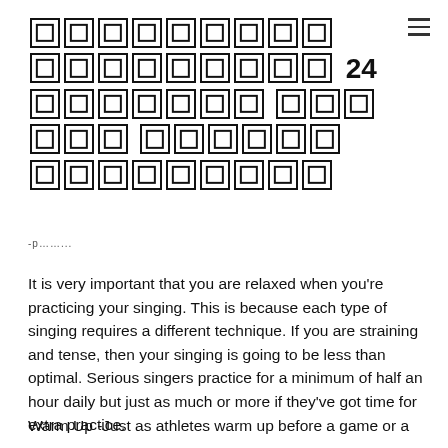🟫🟫🟫🟫🟫🟫🟫🟫🟫🟫🟫🟫🟫🟫🟫🟫🟫🟫🟫🟫🟫🟫🟫🟫🟫🟫🟫🟫🟫🟫 24 🟫🟫🟫🟫🟫🟫🟫 🟫🟫🟫🟫🟫🟫 🟫🟫🟫🟫🟫🟫 🟫🟫🟫🟫🟫🟫🟫🟫🟫🟫🟫🟫🟫🟫🟫🟫
-p……...
It is very important that you are relaxed when you're practicing your singing. This is because each type of singing requires a different technique. If you are straining and tense, then your singing is going to be less than optimal. Serious singers practice for a minimum of half an hour daily but just as much or more if they've got time for extra practice.
Warm Up -Just as athletes warm up before a game or a